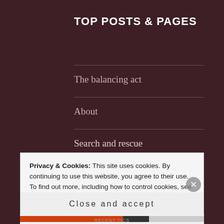TOP POSTS & PAGES
The balancing act
About
Search and rescue
A proud patron
What separates us?
Privacy & Cookies: This site uses cookies. By continuing to use this website, you agree to their use.
To find out more, including how to control cookies, see here: Cookie Policy
Close and accept